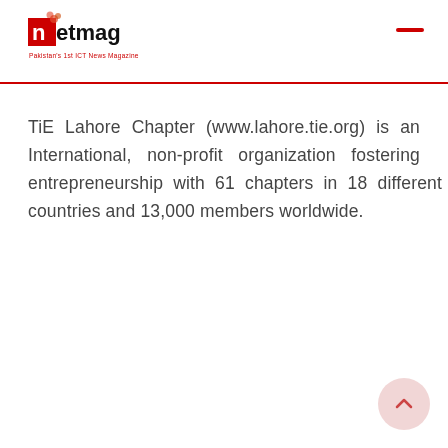netmag — Pakistan's 1st ICT News Magazine
TiE Lahore Chapter (www.lahore.tie.org) is an International, non-profit organization fostering entrepreneurship with 61 chapters in 18 different countries and 13,000 members worldwide.